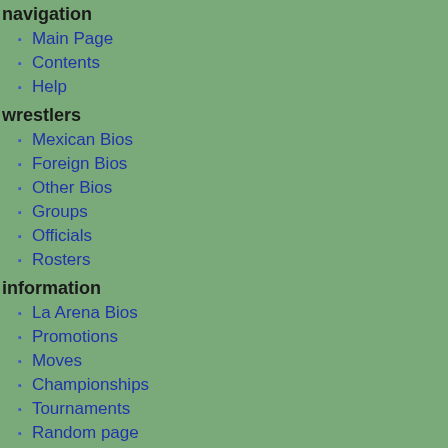navigation
Main Page
Contents
Help
wrestlers
Mexican Bios
Foreign Bios
Other Bios
Groups
Officials
Rosters
information
La Arena Bios
Promotions
Moves
Championships
Tournaments
Random page
Recent changes
tools
What links here
Related changes
Special pages
Printable version
Permanent link